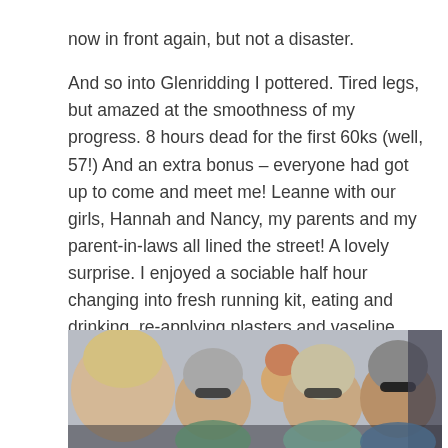now in front again, but not a disaster.
And so into Glenridding I pottered. Tired legs, but amazed at the smoothness of my progress. 8 hours dead for the first 60ks (well, 57!) And an extra bonus – everyone had got up to come and meet me! Leanne with our girls, Hannah and Nancy, my parents and my parent-in-laws all lined the street! A lovely surprise. I enjoyed a sociable half hour changing into fresh running kit, eating and drinking, re-applying plasters and vaseline, putting on sun-cream (it was only 8am but it was hot) and generally relaxing. Maybe relaxing too much, as the next stage nearly finished me off!
[Figure (photo): Group photo of several people (family members) sitting together, smiling at the camera]